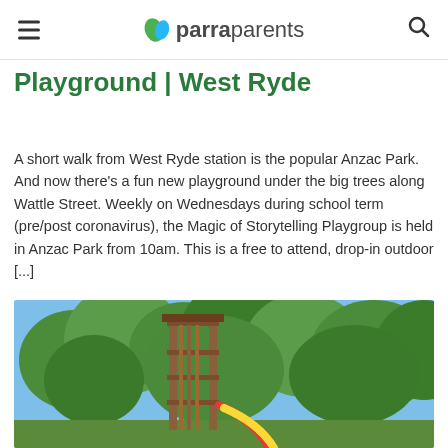parraparents
Playground | West Ryde
A short walk from West Ryde station is the popular Anzac Park. And now there's a fun new playground under the big trees along Wattle Street. Weekly on Wednesdays during school term (pre/post coronavirus), the Magic of Storytelling Playgroup is held in Anzac Park from 10am. This is a free to attend, drop-in outdoor [...]
[Figure (photo): Outdoor playground with a wooden tower structure featuring vertical slats, surrounded by tall green trees under a blue sky with a red and yellow slide visible at the base.]